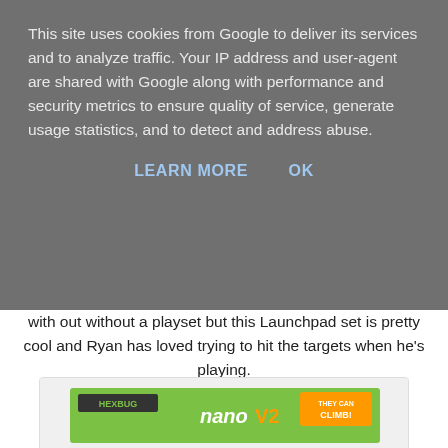This site uses cookies from Google to deliver its services and to analyze traffic. Your IP address and user-agent are shared with Google along with performance and security metrics to ensure quality of service, generate usage statistics, and to detect and address abuse.
LEARN MORE   OK
with out without a playset but this Launchpad set is pretty cool and Ryan has loved trying to hit the targets when he's playing.
[Figure (photo): Product box image of HexBug Nano V2 Launchpad Neon interactive shooting gallery set, featuring orange track pieces, targets, and a green nano bug robot.]